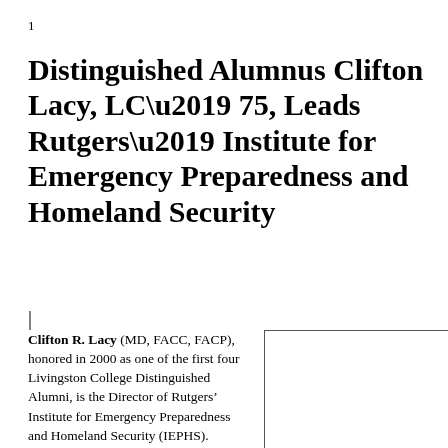1
Distinguished Alumnus Clifton Lacy, LC’75, Leads Rutgers’ Institute for Emergency Preparedness and Homeland Security
Clifton R. Lacy (MD, FACC, FACP), honored in 2000 as one of the first four Livingston College Distinguished Alumni, is the Director of Rutgers’ Institute for Emergency Preparedness and Homeland Security (IEPHS).
[Figure (photo): Photo of Clifton R. Lacy (placeholder box)]
He also has directed the University